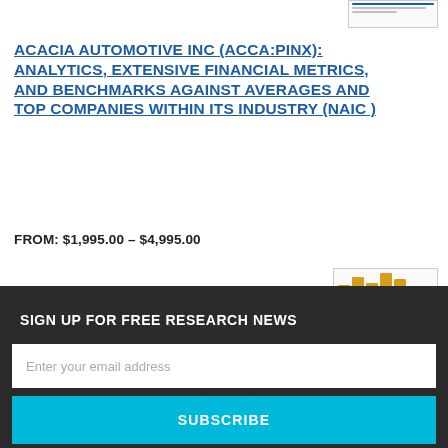[Figure (other): Small thumbnail of a financial report document at top right]
ACACIA AUTOMOTIVE INC (ACCA:PINX): ANALYTICS, EXTENSIVE FINANCIAL METRICS, AND BENCHMARKS AGAINST AVERAGES AND TOP COMPANIES WITHIN ITS INDUSTRY (NAIC)
FROM: $1,995.00 – $4,995.00
[Figure (other): Thumbnail preview of financial report showing golden bar chart icon and table data]
SIGN UP FOR FREE RESEARCH NEWS
Enter your email address
SUBSCRIBE